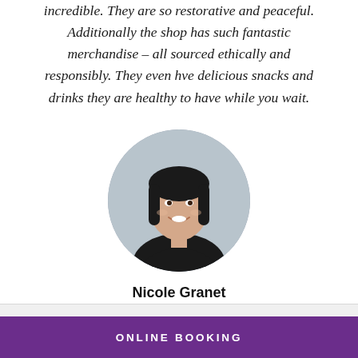incredible. They are so restorative and peaceful. Additionally the shop has such fantastic merchandise – all sourced ethically and responsibly. They even hve delicious snacks and drinks they are healthy to have while you wait.
[Figure (photo): Circular portrait photo of a woman with dark hair, smiling, wearing a dark top.]
Nicole Granet
From the very start the experience was great! I called and spoke with Vanessa and explained that I
ONLINE BOOKING